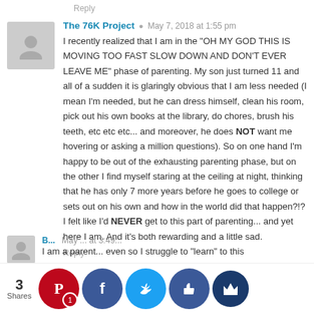Reply
The 76K Project  ·  May 7, 2018 at 1:55 pm
I recently realized that I am in the "OH MY GOD THIS IS MOVING TOO FAST SLOW DOWN AND DON'T EVER LEAVE ME" phase of parenting. My son just turned 11 and all of a sudden it is glaringly obvious that I am less needed (I mean I'm needed, but he can dress himself, clean his room, pick out his own books at the library, do chores, brush his teeth, etc etc etc... and moreover, he does NOT want me hovering or asking a million questions). So on one hand I'm happy to be out of the exhausting parenting phase, but on the other I find myself staring at the ceiling at night, thinking that he has only 7 more years before he goes to college or sets out on his own and how in the world did that happen?!? I felt like I'd NEVER get to this part of parenting... and yet here I am. And it's both rewarding and a little sad.
Reply
3 Shares
I am a parent... even so I struggle to "learn" to this